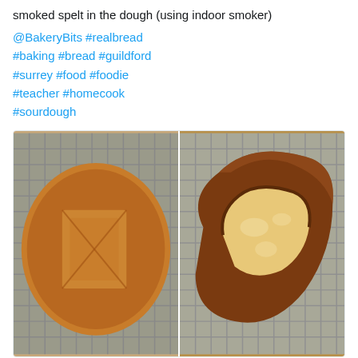smoked spelt in the dough (using indoor smoker)
@BakeryBits #realbread #baking #bread #guildford #surrey #food #foodie #teacher #homecook #sourdough
[Figure (photo): Two photos of artisan sourdough bread loaves on a wire rack. Left photo shows top-down view of a round scored loaf. Right photo shows a cross-section/side view of a dark-crusted loaf.]
2 replies, 19 likes
Philip Fri... @.. · Aug 13
Recipe for my take on Yorkshire curd tart, with rum & vanilla vibes: I